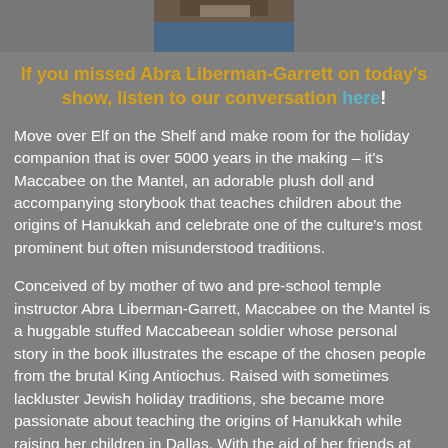[Figure (photo): Partial photo of a person at the top of the page, cropped to show only the lower portion]
If you missed Abra Liberman-Garrett on today's show, listen to our conversation here!
Move over Elf on the Shelf and make room for the holiday companion that is over 5000 years in the making – it's Maccabee on the Mantel, an adorable plush doll and accompanying storybook that teaches children about the origins of Hanukkah and celebrate one of the culture's most prominent but often misunderstood traditions.
Conceived of by mother of two and pre-school temple instructor Abra Liberman-Garrett, Maccabee on the Mantel is a huggable stuffed Maccabeean soldier whose personal story in the book illustrates the escape of the chosen people from the brutal King Antiochus. Raised with sometimes lackluster Jewish holiday traditions, she became more passionate about teaching the origins of Hanukkah while raising her children in Dallas. With the aid of her friends at Fort Worth's legendary improvisation and comedy troupe Four Day Weekend – a group whose business savvy earned